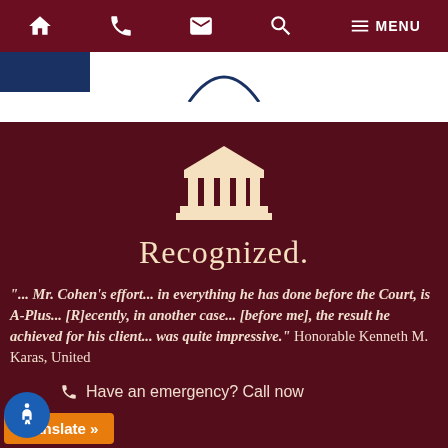Home | Phone | Mail | Search | MENU
[Figure (illustration): Courthouse / pillar building icon in cream/white on dark red background]
Recognized.
"... Mr. Cohen's effort... in everything he has done before the Court, is A-Plus... [R]ecently, in another case... [before me], the result he achieved for his client... was quite impressive." Honorable Kenneth M. Karas, United
Have an emergency? Call now
Translate »